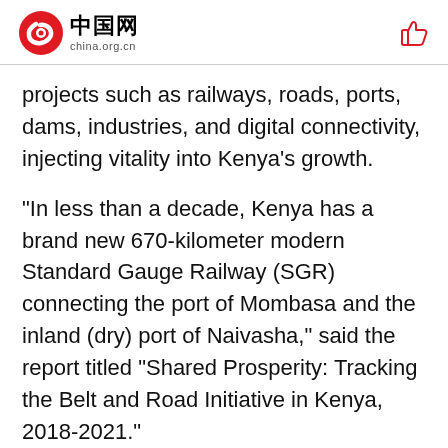中国网 china.org.cn
projects such as railways, roads, ports, dams, industries, and digital connectivity, injecting vitality into Kenya's growth.
"In less than a decade, Kenya has a brand new 670-kilometer modern Standard Gauge Railway (SGR) connecting the port of Mombasa and the inland (dry) port of Naivasha," said the report titled "Shared Prosperity: Tracking the Belt and Road Initiative in Kenya, 2018-2021."
The report indicated that as a result of the BRI, Kenya has many new industries which employ thousands of people and boost the economy